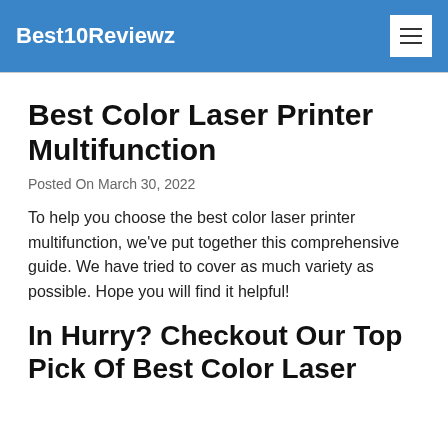Best10Reviewz
Best Color Laser Printer Multifunction
Posted On March 30, 2022
To help you choose the best color laser printer multifunction, we've put together this comprehensive guide. We have tried to cover as much variety as possible. Hope you will find it helpful!
In Hurry? Checkout Our Top Pick Of Best Color Laser